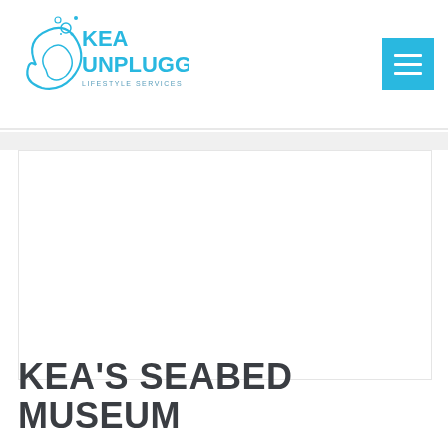[Figure (logo): Kea Unplugged Lifestyle Services logo with blue wave/bubble graphic and text]
[Figure (other): Cyan/blue hamburger menu button (three horizontal white lines on blue square background)]
[Figure (photo): Large white rectangular content area, appears to be a placeholder for an image]
KEA'S SEABED MUSEUM